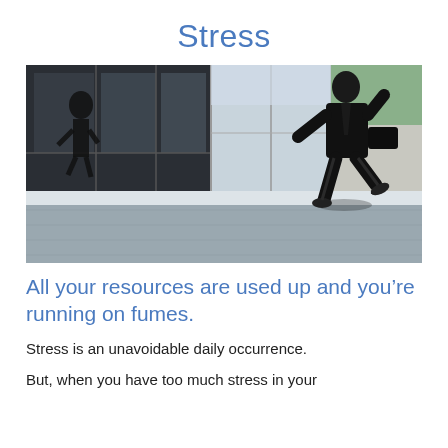Stress
[Figure (photo): A person in a dark suit running along a glass-walled modern building exterior, with their reflection visible in the glass panels. The outdoor setting shows a paved area and a car park beyond the glass.]
All your resources are used up and you’re running on fumes.
Stress is an unavoidable daily occurrence.
But, when you have too much stress in your